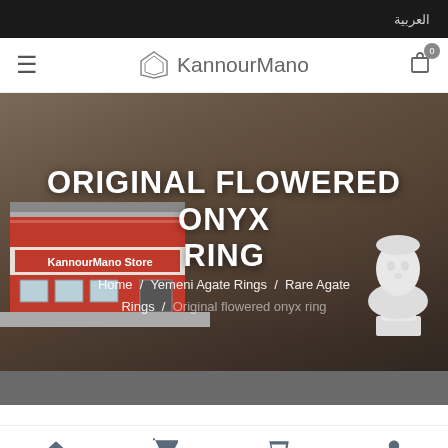العربية
KannourMano
[Figure (screenshot): Hero banner with background showing a cityscape/market scene, a red store building labeled 'KannourMano Store', and a white classical bust sculpture on the right. Overlaid with product title and breadcrumb navigation.]
ORIGINAL FLOWERED ONYX RING
Home / Yemeni Agate Rings / Rare Agate Rings / Original flowered onyx ring
Home  Shop  Cart (0)  Login